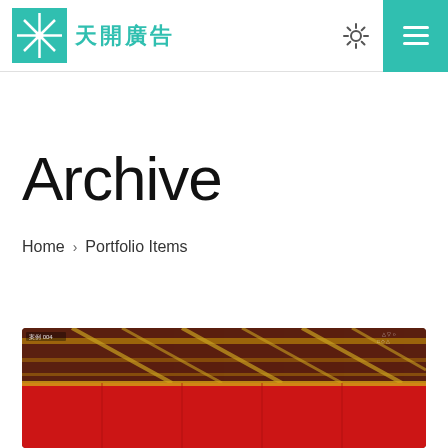[Figure (logo): 天開廣告 company logo with teal star-burst icon and Chinese characters]
Archive
Home > Portfolio Items
[Figure (photo): Interior photo showing decorative ceiling with gold lines and red background, partial view of a venue or event space]